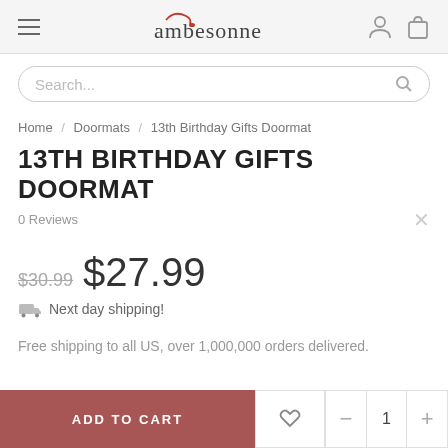ambesonne
Search...
Home / Doormats / 13th Birthday Gifts Doormat
13TH BIRTHDAY GIFTS DOORMAT
0 Reviews
$30.99  $27.99
Next day shipping!
Free shipping to all US, over 1,000,000 orders delivered.
ADD TO CART